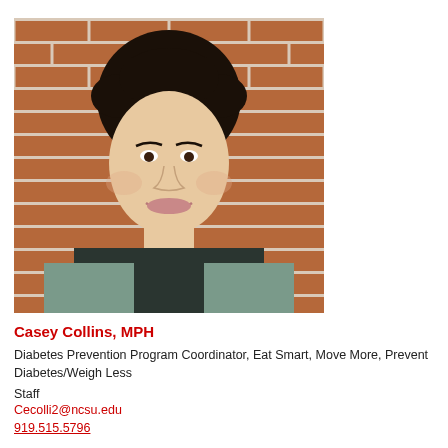[Figure (photo): Headshot of Casey Collins standing in front of a brick wall, smiling, with short curly dark hair, wearing a dark shirt and light jacket.]
Casey Collins, MPH
Diabetes Prevention Program Coordinator, Eat Smart, Move More, Prevent Diabetes/Weigh Less
Staff
Cecolli2@ncsu.edu
919.515.5796